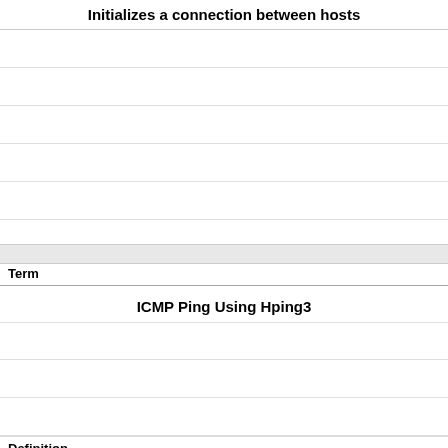Initializes a connection between hosts
Term
ICMP Ping Using Hping3
Definition